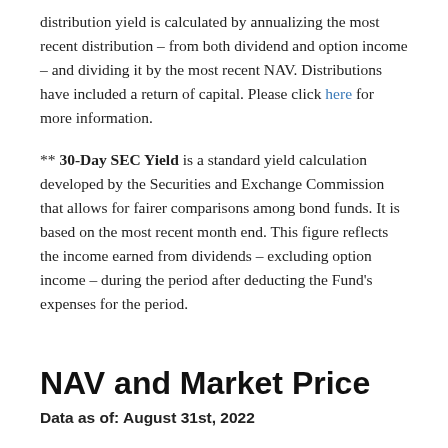distribution yield is calculated by annualizing the most recent distribution – from both dividend and option income – and dividing it by the most recent NAV. Distributions have included a return of capital. Please click here for more information.
** 30-Day SEC Yield is a standard yield calculation developed by the Securities and Exchange Commission that allows for fairer comparisons among bond funds. It is based on the most recent month end. This figure reflects the income earned from dividends – excluding option income – during the period after deducting the Fund's expenses for the period.
NAV and Market Price
Data as of: August 31st, 2022